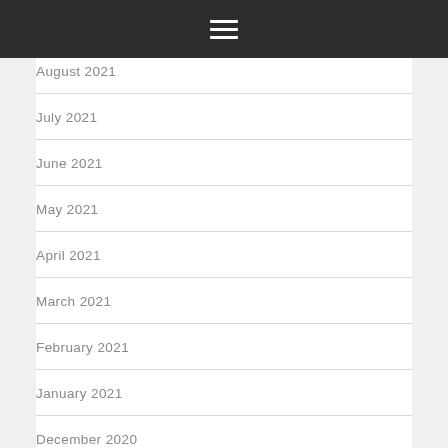Navigation menu icon
August 2021
July 2021
June 2021
May 2021
April 2021
March 2021
February 2021
January 2021
December 2020